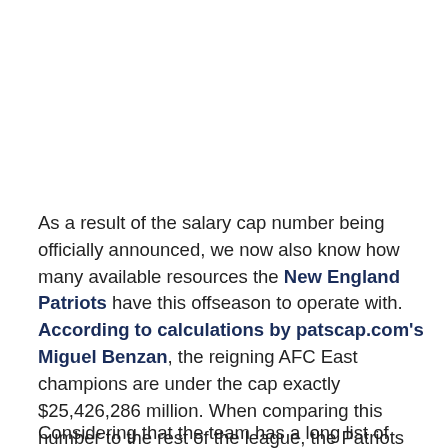As a result of the salary cap number being officially announced, we now also know how many available resources the New England Patriots have this offseason to operate with. According to calculations by patscap.com's Miguel Benzan, the reigning AFC East champions are under the cap exactly $25,426,286 million. When comparing this number to the rest of the league, the Patriots rank just 22nd overall (via OverTheCap.com).
Considering that the team has a long list of players